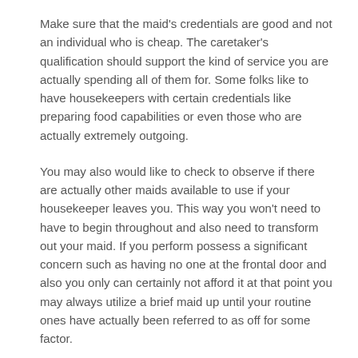Make sure that the maid's credentials are good and not an individual who is cheap. The caretaker's qualification should support the kind of service you are actually spending all of them for. Some folks like to have housekeepers with certain credentials like preparing food capabilities or even those who are actually extremely outgoing.
You may also would like to check to observe if there are actually other maids available to use if your housekeeper leaves you. This way you won't need to have to begin throughout and also need to transform out your maid. If you perform possess a significant concern such as having no one at the frontal door and also you only can certainly not afford it at that point you may always utilize a brief maid up until your routine ones have actually been referred to as off for some factor.